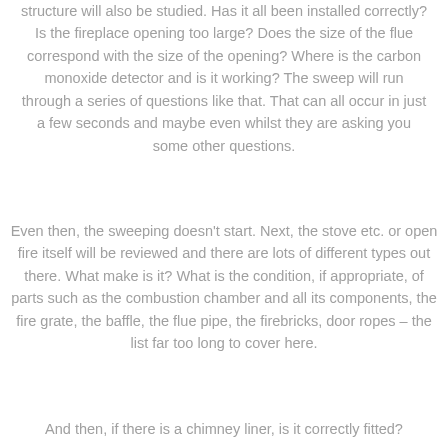structure will also be studied. Has it all been installed correctly? Is the fireplace opening too large? Does the size of the flue correspond with the size of the opening? Where is the carbon monoxide detector and is it working? The sweep will run through a series of questions like that. That can all occur in just a few seconds and maybe even whilst they are asking you some other questions.
Even then, the sweeping doesn't start. Next, the stove etc. or open fire itself will be reviewed and there are lots of different types out there. What make is it? What is the condition, if appropriate, of parts such as the combustion chamber and all its components, the fire grate, the baffle, the flue pipe, the firebricks, door ropes – the list far too long to cover here.
And then, if there is a chimney liner, is it correctly fitted?